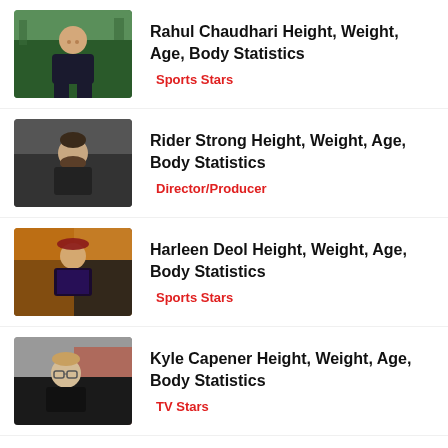Rahul Chaudhari Height, Weight, Age, Body Statistics
Sports Stars
Rider Strong Height, Weight, Age, Body Statistics
Director/Producer
Harleen Deol Height, Weight, Age, Body Statistics
Sports Stars
Kyle Capener Height, Weight, Age, Body Statistics
TV Stars